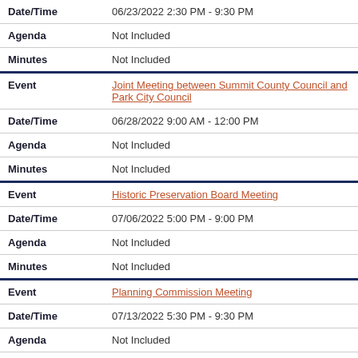| Field | Value |
| --- | --- |
| Date/Time | 06/23/2022 2:30 PM - 9:30 PM |
| Agenda | Not Included |
| Minutes | Not Included |
| Event | Joint Meeting between Summit County Council and Park City Council |
| Date/Time | 06/28/2022 9:00 AM - 12:00 PM |
| Agenda | Not Included |
| Minutes | Not Included |
| Event | Historic Preservation Board Meeting |
| Date/Time | 07/06/2022 5:00 PM - 9:00 PM |
| Agenda | Not Included |
| Minutes | Not Included |
| Event | Planning Commission Meeting |
| Date/Time | 07/13/2022 5:30 PM - 9:30 PM |
| Agenda | Not Included |
| Minutes | Not Included |